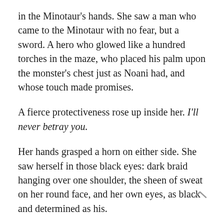in the Minotaur's hands. She saw a man who came to the Minotaur with no fear, but a sword. A hero who glowed like a hundred torches in the maze, who placed his palm upon the monster's chest just as Noani had, and whose touch made promises.
A fierce protectiveness rose up inside her. I'll never betray you.
Her hands grasped a horn on either side. She saw herself in those black eyes: dark braid hanging over one shoulder, the sheen of sweat on her round face, and her own eyes, as black and determined as his.
Max tore back the tarp and shouted her name. For an instant, he was stunned, frozen. Then he jumped into the pit, sliding on the wet ground